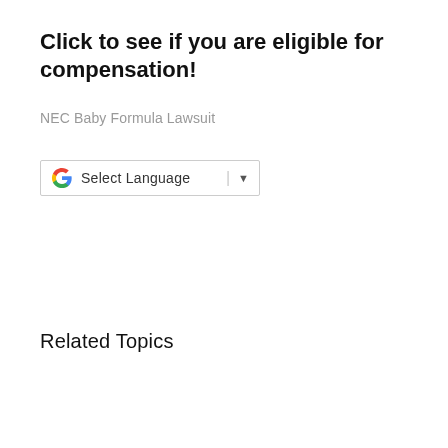Click to see if you are eligible for compensation!
NEC Baby Formula Lawsuit
[Figure (other): Google Translate widget showing 'Select Language' with a dropdown arrow, enclosed in a bordered box with the Google G logo]
Related Topics